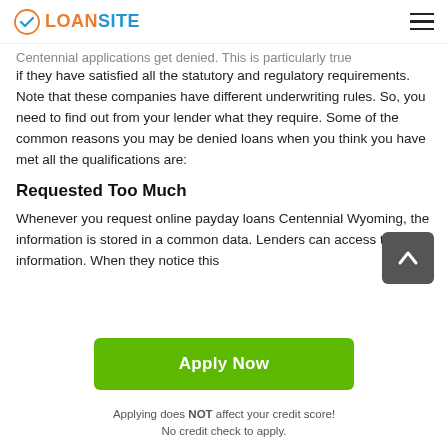LOANSITE
Centennial applications get denied. This is particularly true if they have satisfied all the statutory and regulatory requirements. Note that these companies have different underwriting rules. So, you need to find out from your lender what they require. Some of the common reasons you may be denied loans when you think you have met all the qualifications are:
Requested Too Much
Whenever you request online payday loans Centennial Wyoming, the information is stored in a common data. Lenders can access this information. When they notice this
[Figure (other): Scroll-up arrow button, dark grey rounded square]
Apply Now
Applying does NOT affect your credit score!
No credit check to apply.